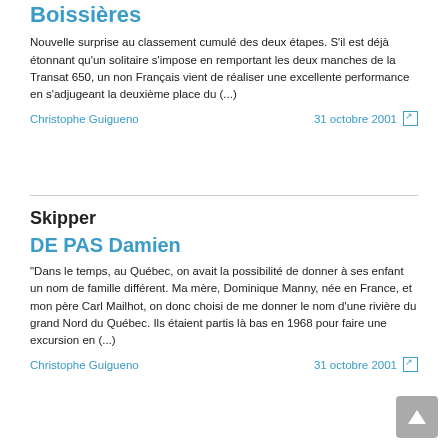Boissières
Nouvelle surprise au classement cumulé des deux étapes. S'il est déjà étonnant qu'un solitaire s'impose en remportant les deux manches de la Transat 650, un non Français vient de réaliser une excellente performance en s'adjugeant la deuxième place du (...)
Christophe Guigueno   31 octobre 2001
Skipper
DE PAS Damien
"Dans le temps, au Québec, on avait la possibilité de donner à ses enfant un nom de famille différent. Ma mère, Dominique Manny, née en France, et mon père Carl Mailhot, on donc choisi de me donner le nom d'une rivière du grand Nord du Québec. Ils étaient partis là bas en 1968 pour faire une excursion en (...)
Christophe Guigueno   31 octobre 2001